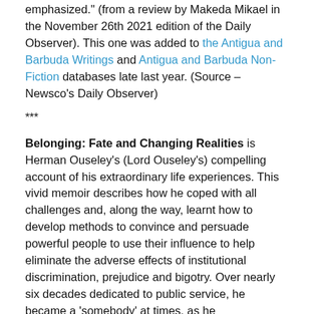emphasized." (from a review by Makeda Mikael in the November 26th 2021 edition of the Daily Observer). This one was added to the Antigua and Barbuda Writings and Antigua and Barbuda Non-Fiction databases late last year. (Source – Newsco's Daily Observer)
***
Belonging: Fate and Changing Realities is Herman Ouseley's (Lord Ouseley's) compelling account of his extraordinary life experiences. This vivid memoir describes how he coped with all challenges and, along the way, learnt how to develop methods to convince and persuade powerful people to use their influence to help eliminate the adverse effects of institutional discrimination, prejudice and bigotry. Over nearly six decades dedicated to public service, he became a 'somebody' at times, as he